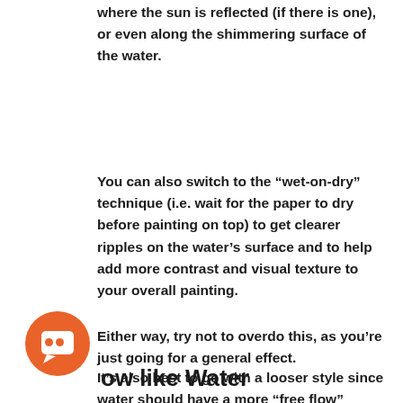where the sun is reflected (if there is one), or even along the shimmering surface of the water.
You can also switch to the “wet-on-dry” technique (i.e. wait for the paper to dry before painting on top) to get clearer ripples on the water’s surface and to help add more contrast and visual texture to your overall painting.
Either way, try not to overdo this, as you’re just going for a general effect.
It’s also best to go with a looser style since water should have a more “free flow” feeling!
[Figure (illustration): Orange circular chat/support icon with speech bubble symbol]
ow like Water